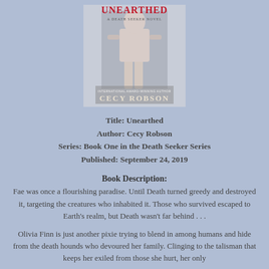[Figure (illustration): Book cover of 'Unearthed: A Death Seeker Novel' by Cecy Robson, showing a figure with the title text in red and author name at the bottom.]
Title: Unearthed
Author: Cecy Robson
Series: Book One in the Death Seeker Series
Published: September 24, 2019
Book Description:
Fae was once a flourishing paradise. Until Death turned greedy and destroyed it, targeting the creatures who inhabited it. Those who survived escaped to Earth’s realm, but Death wasn’t far behind . . .
Olivia Finn is just another pixie trying to blend in among humans and hide from the death hounds who devoured her family. Clinging to the talisman that keeps her exiled from those she hurt, her only